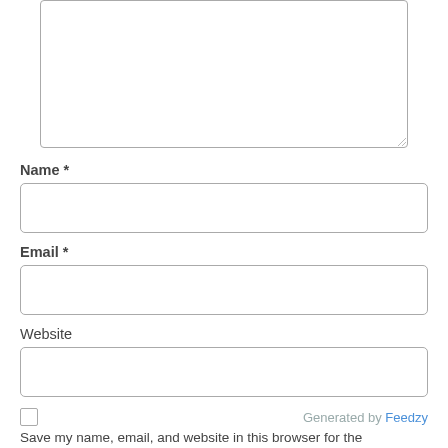[Figure (screenshot): A large empty textarea input box with a resize handle at the bottom-right corner.]
Name *
[Figure (screenshot): An empty single-line text input box for Name field.]
Email *
[Figure (screenshot): An empty single-line text input box for Email field.]
Website
[Figure (screenshot): An empty single-line text input box for Website field.]
Generated by Feedzy
Save my name, email, and website in this browser for the